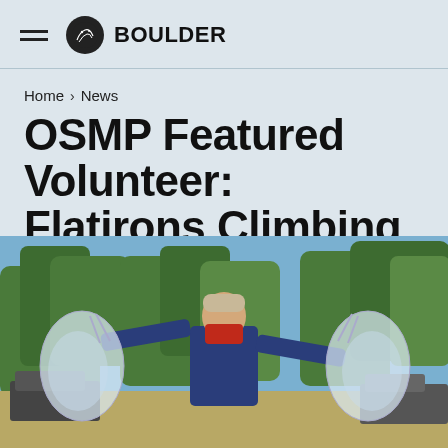BOULDER
Home > News
OSMP Featured Volunteer: Flatirons Climbing Council
[Figure (photo): A person wearing a red face covering and navy shirt stands outdoors holding two large clear plastic bags in each hand, with pine trees and a car visible in the background.]